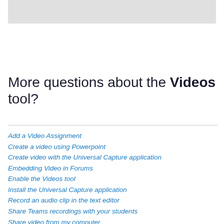[Figure (other): Gray image placeholder at the top of the page]
More questions about the Videos tool?
Add a Video Assignment
Create a video using Powerpoint
Create video with the Universal Capture application
Embedding Video in Forums
Enable the Videos tool
Install the Universal Capture application
Record an audio clip in the text editor
Share Teams recordings with your students
Share video from my computer